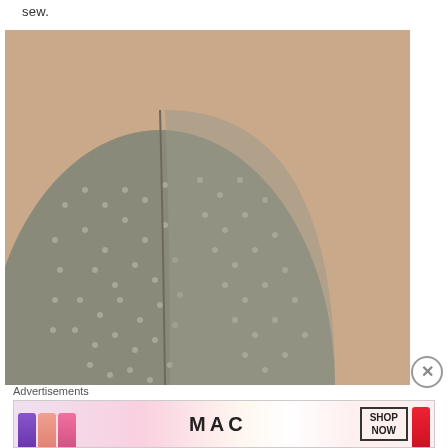sew.
[Figure (photo): A grey polka-dot fabric hat panel sewn together, placed on a beige/tan background. The fabric piece is curved and dome-shaped, showing a seam running vertically through the center.]
Advertisements
[Figure (photo): MAC cosmetics advertisement banner showing lipsticks in purple, salmon, pink, and red colors alongside the MAC logo and a 'SHOP NOW' button.]